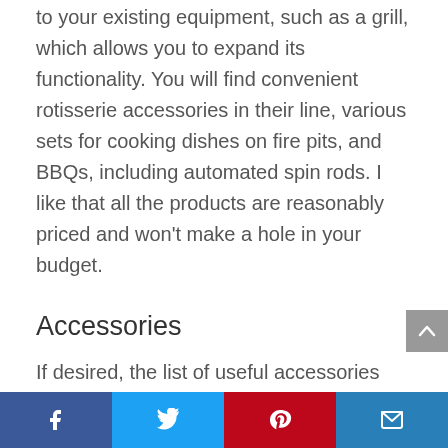to your existing equipment, such as a grill, which allows you to expand its functionality. You will find convenient rotisserie accessories in their line, various sets for cooking dishes on fire pits, and BBQs, including automated spin rods. I like that all the products are reasonably priced and won't make a hole in your budget.
Accessories
If desired, the list of useful accessories can be made endless because there is always something that can be improved. However, a few items have undeniable value when dealing with extra hot ovens and making Neapolitan pies. I'm talking about pizza peels and protective gloves. With their help, it is easier to turn and remove dishes from the oven and protect yourself from burns. Besides, not all
Facebook Twitter Pinterest Email